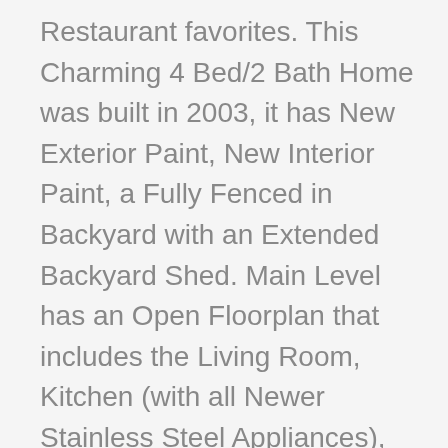Restaurant favorites. This Charming 4 Bed/2 Bath Home was built in 2003, it has New Exterior Paint, New Interior Paint, a Fully Fenced in Backyard with an Extended Backyard Shed. Main Level has an Open Floorplan that includes the Living Room, Kitchen (with all Newer Stainless Steel Appliances), and Eating area, 2 Bedrooms with Ample Closet Space, New Carpet and New Paint, as well as, a Newer Eemodeled bathroom with Energy Efficient Fixtures. The Staircase going down to the Basement is lined with Brand New Carpet. The Basement Level has 2 Bedrooms both with Egress Windows, 3/4 Bathroom